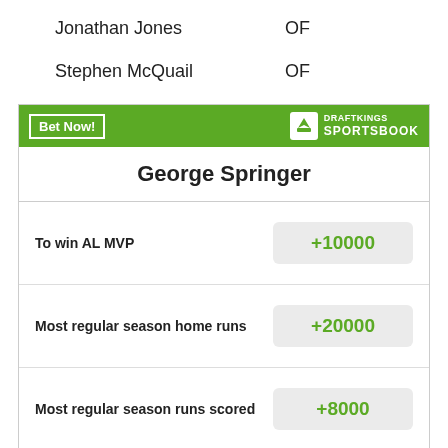Jonathan Jones    OF
Stephen McQuail    OF
[Figure (infographic): DraftKings Sportsbook widget for George Springer showing betting odds: To win AL MVP +10000, Most regular season home runs +20000, Most regular season runs scored +8000. Green header with Bet Now! button and DraftKings Sportsbook logo.]